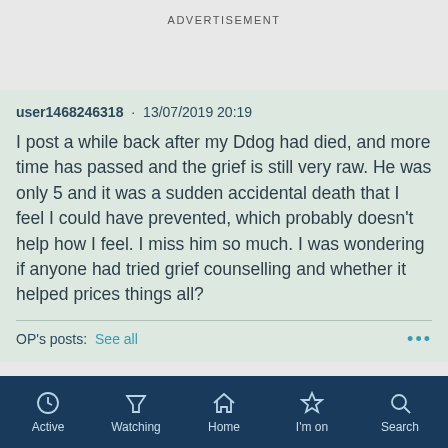ADVERTISEMENT
user1468246318 · 13/07/2019 20:19
I post a while back after my Ddog had died, and more time has passed and the grief is still very raw. He was only 5 and it was a sudden accidental death that I feel I could have prevented, which probably doesn't help how I feel. I miss him so much. I was wondering if anyone had tried grief counselling and whether it helped prices things all?
OP's posts:  See all
ADVERTISEMENT
Active  Watching  Home  I'm on  Search